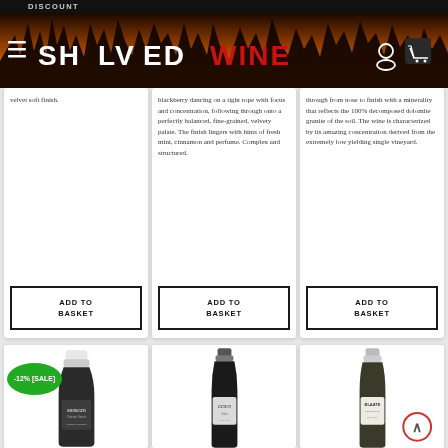DISCOUNT
[Figure (logo): Shelved Wine website logo on a warm sunset/silhouette background with navigation icons]
velvet soft finish.
blackberry dancing on a tight rope with focus and concentration, following through onto a perfectly balanced, fine-grained, velvety palate. The finish lingers with hints of fresh mint, cinnamon and perfume. Complex and structured.
through from nose to finish with a minerality that reflects the 100% decomposed dolomite granite of the soil. The wine is characterized by its amazing concentration derived from the extremely low yielding single vineyard.
ADD TO BASKET
ADD TO BASKET
ADD TO BASKET
[Figure (photo): Wine bottle with label showing Cabernet, with -12% [SALE] green badge overlay]
[Figure (photo): Wine bottle labeled EDEN]
[Figure (photo): Wine bottle labeled BLAATE Chenin Blanc, with circular scroll-to-top button overlay]